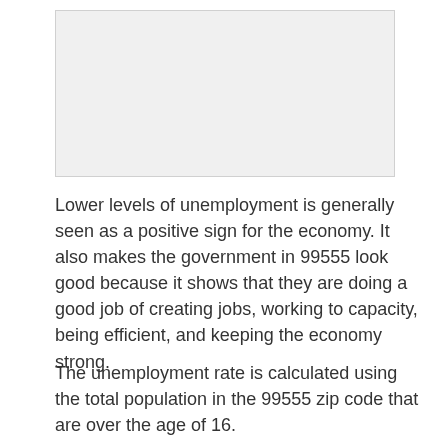[Figure (other): Image placeholder area at top of page]
Lower levels of unemployment is generally seen as a positive sign for the economy. It also makes the government in 99555 look good because it shows that they are doing a good job of creating jobs, working to capacity, being efficient, and keeping the economy strong.
The unemployment rate is calculated using the total population in the 99555 zip code that are over the age of 16.